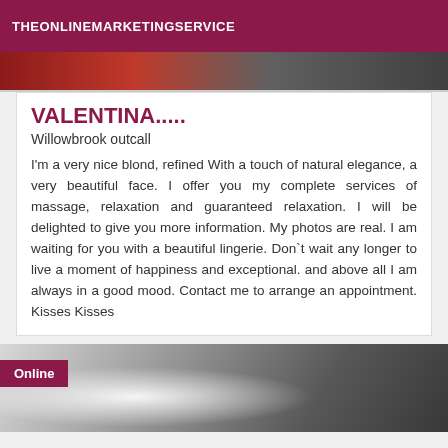THEONLINEMARKETINGSERVICE
[Figure (photo): Top portion of a photo showing red and dark background colors, partially cropped]
VALENTINA.....
Willowbrook outcall
I'm a very nice blond, refined With a touch of natural elegance, a very beautiful face. I offer you my complete services of massage, relaxation and guaranteed relaxation. I will be delighted to give you more information. My photos are real. I am waiting for you with a beautiful lingerie. Don`t wait any longer to live a moment of happiness and exceptional. and above all I am always in a good mood. Contact me to arrange an appointment. Kisses Kisses
[Figure (photo): Black and white photo of hands, with an Online badge in the top-left corner]